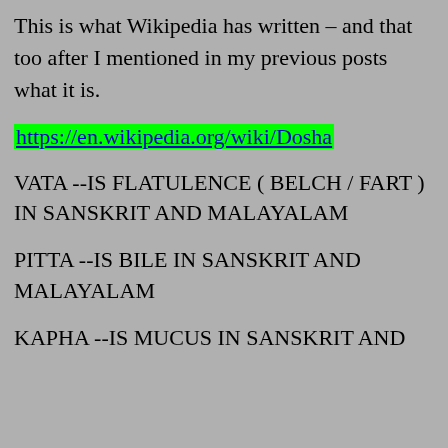This is what Wikipedia has written – and that too after I mentioned in my previous posts what it is.
https://en.wikipedia.org/wiki/Dosha
VATA --IS FLATULENCE ( BELCH / FART ) IN SANSKRIT AND MALAYALAM
PITTA --IS BILE IN SANSKRIT AND MALAYALAM
KAPHA --IS MUCUS IN SANSKRIT AND